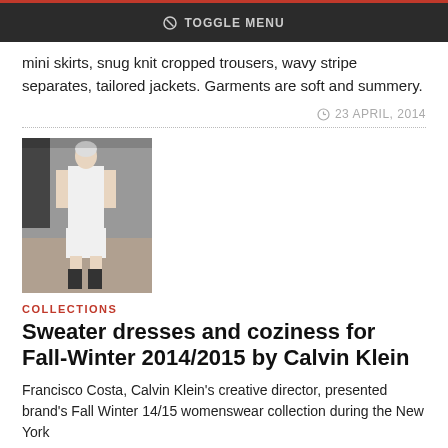TOGGLE MENU
mini skirts, snug knit cropped trousers, wavy stripe separates, tailored jackets. Garments are soft and summery.
23 APRIL, 2014
[Figure (photo): Fashion runway photo of a model in a white sleeveless dress with black boots]
COLLECTIONS
Sweater dresses and coziness for Fall-Winter 2014/2015 by Calvin Klein
Francisco Costa, Calvin Klein's creative director, presented brand's Fall Winter 14/15 womenswear collection during the New York